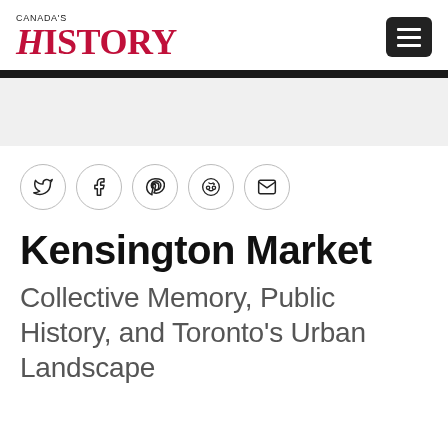CANADA'S HISTORY
[Figure (infographic): Five social sharing icon buttons in circles: Twitter (bird), Facebook (f), Pinterest (p), Reddit (alien), Email (envelope)]
Kensington Market
Collective Memory, Public History, and Toronto's Urban Landscape